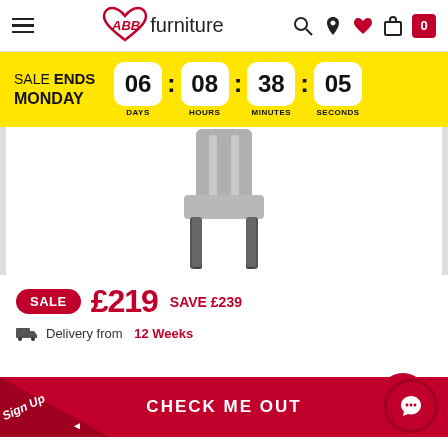ABB Furniture - header with logo, search, location, wishlist, cart icons
SALE ENDS MONDAY 06 DAYS : 08 HOURS : 38 MINUTES : 05 SECONDS
[Figure (photo): Gray upholstered dining chair with dark wooden legs on white background]
SALE £219 SAVE £239
Delivery from 12 Weeks
ENDS MONDAY
CHECK ME OUT
Sign Up